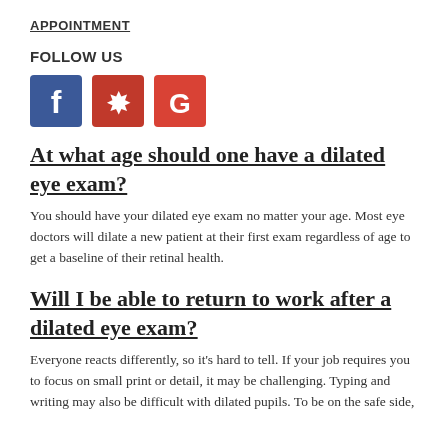APPOINTMENT
FOLLOW US
[Figure (illustration): Social media icons: Facebook (blue), Yelp (red), Google (red)]
At what age should one have a dilated eye exam?
You should have your dilated eye exam no matter your age. Most eye doctors will dilate a new patient at their first exam regardless of age to get a baseline of their retinal health.
Will I be able to return to work after a dilated eye exam?
Everyone reacts differently, so it's hard to tell. If your job requires you to focus on small print or detail, it may be challenging. Typing and writing may also be difficult with dilated pupils. To be on the safe side,